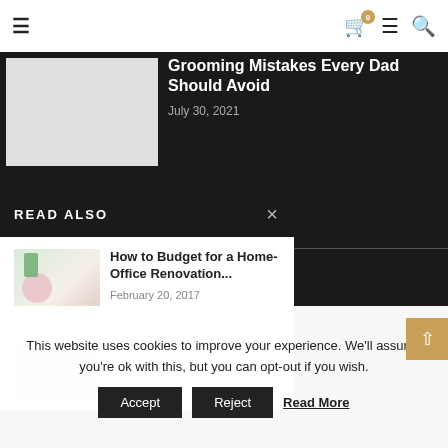Navigation bar with hamburger menu, cart (0), menu, search icons
Grooming Mistakes Every Dad Should Avoid
July 30, 2021
READ ALSO
How to Budget for a Home-Office Renovation...
February 20, 2017
How to Defeat Foul Breath
dget for a Home-Office n Project
2017
This website uses cookies to improve your experience. We'll assume you're ok with this, but you can opt-out if you wish.
Accept
Reject
Read More